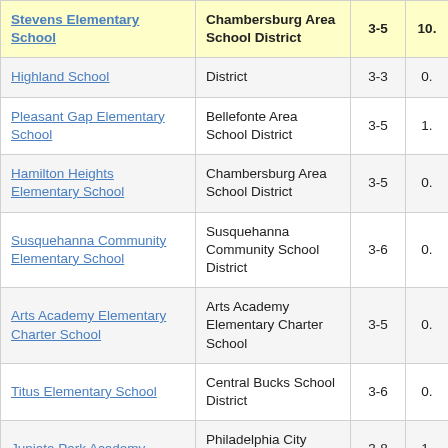| School | District | Grades | Score |
| --- | --- | --- | --- |
| Stevens Elementary School | Chambersburg Area School District | 3-5 | 10. |
| Highland School | District | 3-3 | 0. |
| Pleasant Gap Elementary School | Bellefonte Area School District | 3-5 | 1. |
| Hamilton Heights Elementary School | Chambersburg Area School District | 3-5 | 0. |
| Susquehanna Community Elementary School | Susquehanna Community School District | 3-6 | 0. |
| Arts Academy Elementary Charter School | Arts Academy Elementary Charter School | 3-5 | 0. |
| Titus Elementary School | Central Bucks School District | 3-6 | 0. |
| Juniata Park Academy | Philadelphia City School District | 3-8 | 1. |